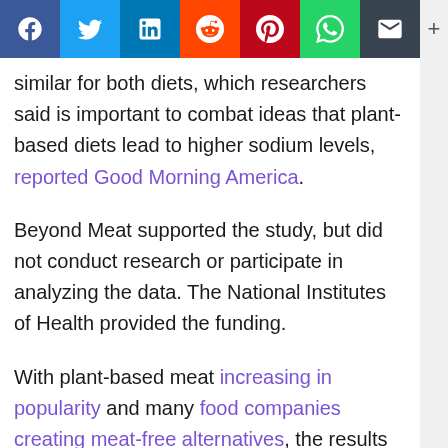[Figure (screenshot): Social media share bar with Facebook, Twitter, LinkedIn, Reddit, Pinterest, WhatsApp, Email buttons and a plus button]
similar for both diets, which researchers said is important to combat ideas that plant-based diets lead to higher sodium levels, reported Good Morning America.
Beyond Meat supported the study, but did not conduct research or participate in analyzing the data. The National Institutes of Health provided the funding.
With plant-based meat increasing in popularity and many food companies creating meat-free alternatives, the results of this study provide hopeful evidence for a cleaner, healthier future...